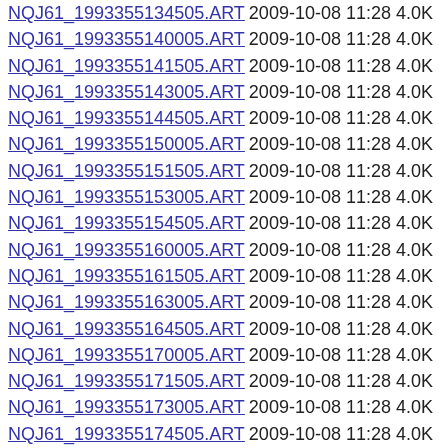NQJ61_1993355134505.ART 2009-10-08 11:28 4.0K
NQJ61_1993355140005.ART 2009-10-08 11:28 4.0K
NQJ61_1993355141505.ART 2009-10-08 11:28 4.0K
NQJ61_1993355143005.ART 2009-10-08 11:28 4.0K
NQJ61_1993355144505.ART 2009-10-08 11:28 4.0K
NQJ61_1993355150005.ART 2009-10-08 11:28 4.0K
NQJ61_1993355151505.ART 2009-10-08 11:28 4.0K
NQJ61_1993355153005.ART 2009-10-08 11:28 4.0K
NQJ61_1993355154505.ART 2009-10-08 11:28 4.0K
NQJ61_1993355160005.ART 2009-10-08 11:28 4.0K
NQJ61_1993355161505.ART 2009-10-08 11:28 4.0K
NQJ61_1993355163005.ART 2009-10-08 11:28 4.0K
NQJ61_1993355164505.ART 2009-10-08 11:28 4.0K
NQJ61_1993355170005.ART 2009-10-08 11:28 4.0K
NQJ61_1993355171505.ART 2009-10-08 11:28 4.0K
NQJ61_1993355173005.ART 2009-10-08 11:28 4.0K
NQJ61_1993355174505.ART 2009-10-08 11:28 4.0K
NQJ61_1993355180005.ART 2009-10-08 11:28 4.0K
NQJ61_1993355181505.ART 2009-10-08 11:28 4.0K
NQJ61_1993355183005.ART 2009-10-08 11:28 4.0K